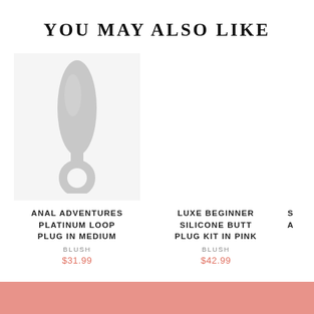YOU MAY ALSO LIKE
[Figure (photo): Product image of Anal Adventures Platinum Loop Plug in Medium on light gray background]
ANAL ADVENTURES PLATINUM LOOP PLUG IN MEDIUM
BLUSH
$31.99
LUXE BEGINNER SILICONE BUTT PLUG KIT IN PINK
BLUSH
$42.99
S A